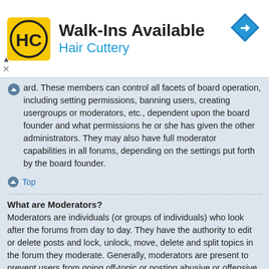[Figure (infographic): Hair Cuttery advertisement banner with logo (HC in circle on yellow background), title 'Walk-Ins Available', subtitle 'Hair Cuttery', and a blue navigation arrow icon on the right. Ad close/expand controls on the left.]
ard. These members can control all facets of board operation, including setting permissions, banning users, creating usergroups or moderators, etc., dependent upon the board founder and what permissions he or she has given the other administrators. They may also have full moderator capabilities in all forums, depending on the settings put forth by the board founder.
Top
What are Moderators?
Moderators are individuals (or groups of individuals) who look after the forums from day to day. They have the authority to edit or delete posts and lock, unlock, move, delete and split topics in the forum they moderate. Generally, moderators are present to prevent users from going off-topic or posting abusive or offensive material.
Top
What are usergroups?
Usergroups are groups of users that divide the community into manageable sections board administrators can work with. Each user can belong to several